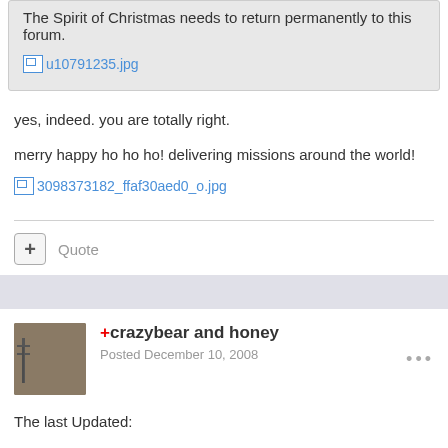The Spirit of Christmas needs to return permanently to this forum.
[Figure (other): Broken image placeholder link: u10791235.jpg]
yes, indeed. you are totally right.
merry happy ho ho ho! delivering missions around the world!
[Figure (other): Broken image placeholder link: 3098373182_ffaf30aed0_o.jpg]
+ Quote
+crazybear and honey
Posted December 10, 2008
The last Updated:
Mission #1